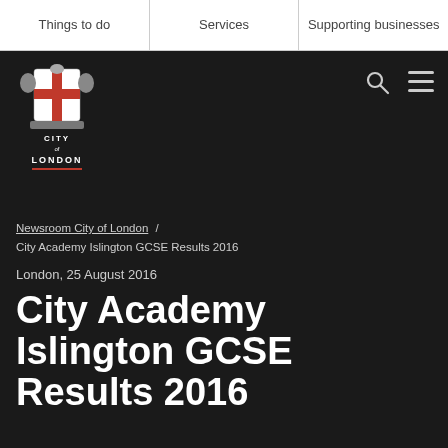Things to do | Services | Supporting businesses
[Figure (logo): City of London Corporation coat of arms logo with shield, supporters, and text 'CITY OF LONDON']
Newsroom City of London / City Academy Islington GCSE Results 2016
London, 25 August 2016
City Academy Islington GCSE Results 2016